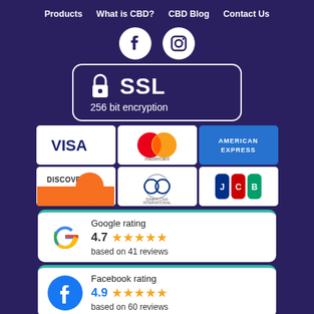Products  What is CBD?  CBD Blog  Contact Us
[Figure (logo): Facebook and Instagram social media icons in white circles]
[Figure (infographic): SSL 256 bit encryption badge with padlock icon, white border on dark background]
[Figure (infographic): Payment method logos: Visa, Mastercard, American Express, Discover, Diners Club International, JCB]
[Figure (infographic): Google rating card: 4.7 stars based on 41 reviews]
[Figure (infographic): Facebook rating card: 4.9 stars based on 60 reviews]